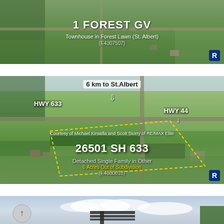[Figure (photo): Aerial view of 1 Forest GV townhouse in Forest Lawn, St. Albert with overlay text]
1 FOREST GV
Townhouse in Forest Lawn (St. Albert)
(E4307507)
[Figure (photo): Aerial map view of 26501 SH 633 showing HWY 633, HWY 44, 6 km to St. Albert marker, and yellow boundary lines around the property. Courtesy of Michael Kinsella and Scott Storry of RE/MAX Elite.]
6 km to St.Albert
HWY 633
HWY 44
Courtesy of Michael Kinsella and Scott Storry of RE/MAX Elite
26501 SH 633
Detached Single Family in Other
6 Acres Out of Subdivision
(E4300018)
[Figure (photo): Aerial photo of a property with cloudy sky, tree visible at right, and dark structural elements in center. Scroll-up button visible at bottom left.]